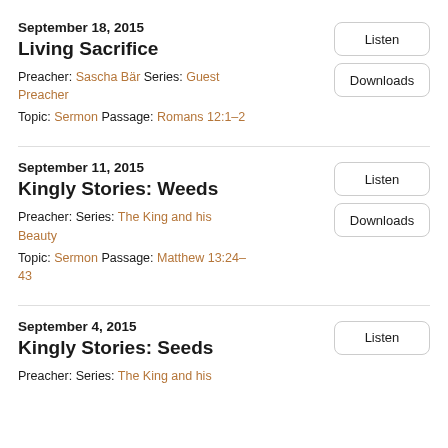September 18, 2015
Living Sacrifice
Preacher: Sascha Bär Series: Guest Preacher
Topic: Sermon Passage: Romans 12:1–2
September 11, 2015
Kingly Stories: Weeds
Preacher: Series: The King and his Beauty
Topic: Sermon Passage: Matthew 13:24–43
September 4, 2015
Kingly Stories: Seeds
Preacher: Series: The King and his